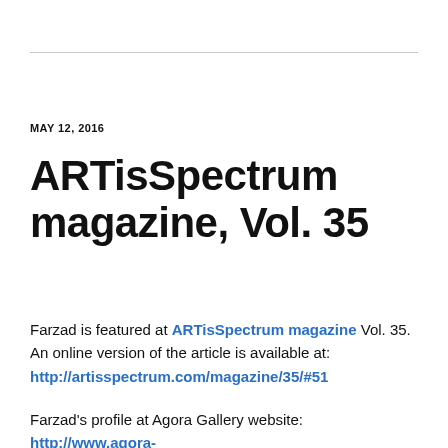MAY 12, 2016
ARTisSpectrum magazine, Vol. 35
Farzad is featured at ARTisSpectrum magazine Vol. 35. An online version of the article is available at: http://artisspectrum.com/magazine/35/#51
Farzad's profile at Agora Gallery website: http://www.agora-